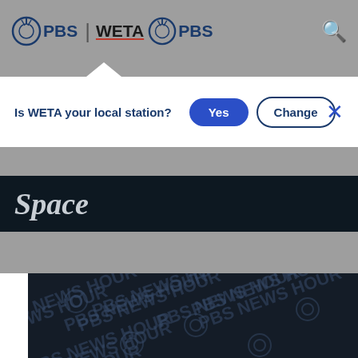PBS | WETA PBS
Is WETA your local station?  Yes  Change
Space
[Figure (screenshot): PBS NewsHour repeating watermark pattern on dark navy background]